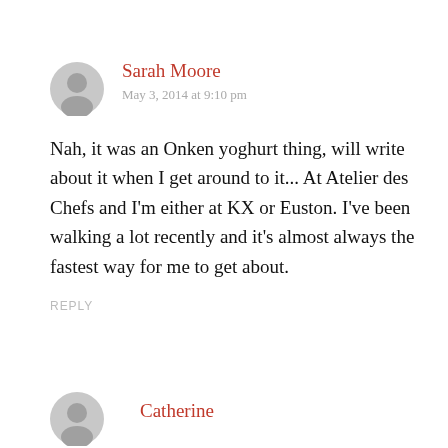Sarah Moore
May 3, 2014 at 9:10 pm
Nah, it was an Onken yoghurt thing, will write about it when I get around to it... At Atelier des Chefs and I'm either at KX or Euston. I've been walking a lot recently and it's almost always the fastest way for me to get about.
REPLY
Catherine